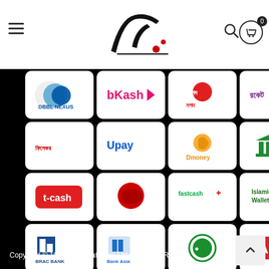Cats Eye - Navigation header with logo, hamburger menu, search and cart icons
[Figure (infographic): Payment method logos grid: Row 1: DBBL Nexus, bKash, Nagad, Rocket, OK Wallet. Row 2: Fisekaon, Upay, Dmoney, (bank icon), MYCash. Row 3: t-cash, (red icon), fastcash+, Islamic Wallet, CityHub. Row 4: BRAC Bank, Bank Asia, (green seal), AB+, MTB. Row 5: (triangle icon), SB, iPay, TopUp Pay. SSLCommerz verified badge.]
Copyright © 1980-2022 Cats Eye Ltd. All Rights Reserved